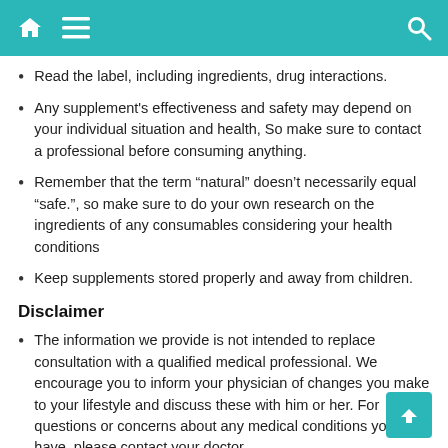Navigation header bar with home, menu, and search icons
Read the label, including ingredients, drug interactions.
Any supplement's effectiveness and safety may depend on your individual situation and health, So make sure to contact a professional before consuming anything.
Remember that the term “natural” doesn’t necessarily equal “safe.”, so make sure to do your own research on the ingredients of any consumables considering your health conditions
Keep supplements stored properly and away from children.
Disclaimer
The information we provide is not intended to replace consultation with a qualified medical professional. We encourage you to inform your physician of changes you make to your lifestyle and discuss these with him or her. For questions or concerns about any medical conditions you may have, please contact your doctor
The website’s content is based upon collecting information from